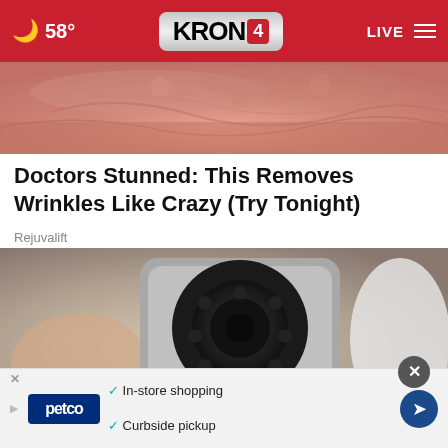☁ 58° | KRON 4 | LIVE
[Figure (photo): Close-up of wrinkled, textured skin in pink/red tones]
Doctors Stunned: This Removes Wrinkles Like Crazy (Try Tonight)
Rejuvalift
[Figure (photo): A hand holding a small silver device with a round black lens/camera panel, resembling a mini security camera]
×
[Figure (screenshot): Petco advertisement banner: In-store shopping, Curbside pickup]